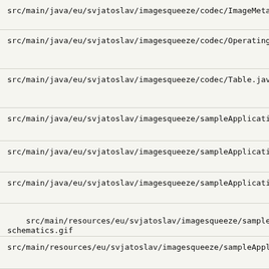src/main/java/eu/svjatoslav/imagesqueeze/codec/ImageMetaDa...
src/main/java/eu/svjatoslav/imagesqueeze/codec/OperatingCo...
src/main/java/eu/svjatoslav/imagesqueeze/codec/Table.java
src/main/java/eu/svjatoslav/imagesqueeze/sampleApplication....
src/main/java/eu/svjatoslav/imagesqueeze/sampleApplication....
src/main/java/eu/svjatoslav/imagesqueeze/sampleApplication....
src/main/resources/eu/svjatoslav/imagesqueeze/sampleApplica...
schematics.gif
src/main/resources/eu/svjatoslav/imagesqueeze/sampleApplica...
src/main/resources/eu/svjatoslav/imagesqueeze/sampleApplica...
logo.png